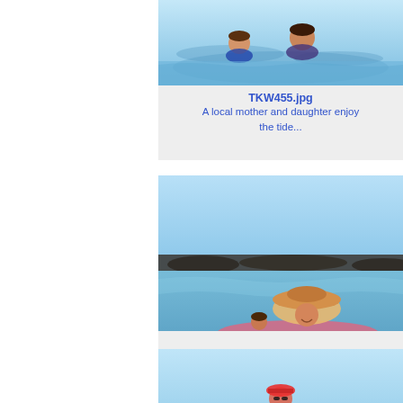[Figure (photo): A local mother and daughter swimming in the tide, two people in water visible from shoulders up]
TKW455.jpg
A local mother and daughter enjoy the tide...
[Figure (photo): A local mother and daughter enjoying the tide, woman wearing large sun hat lying in shallow water with child]
TKW456.jpg
A local mother and daughter enjoy the tide...
[Figure (photo): Partial photo of person at beach, partially cut off at bottom of page]